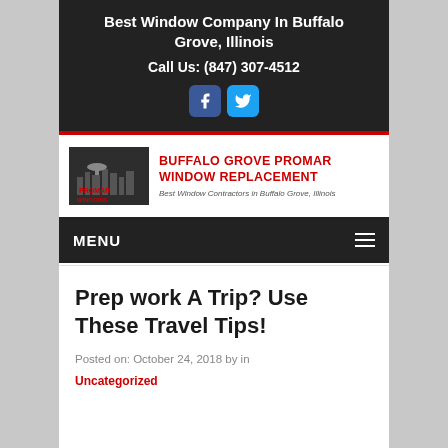Best Window Company In Buffalo Grove, Illinois
Call Us: (847) 307-4512
[Figure (logo): Buffalo Grove Promar Window Replacement logo with dark background and Promar Windows text]
BUFFALO GROVE PROMAR WINDOW REPLACEMENT
Best Window Contractors in Buffalo Grove, Illinois
MENU
Prep work A Trip? Use These Travel Tips!
Posted on: October 24, 2018 by in
Uncategorized